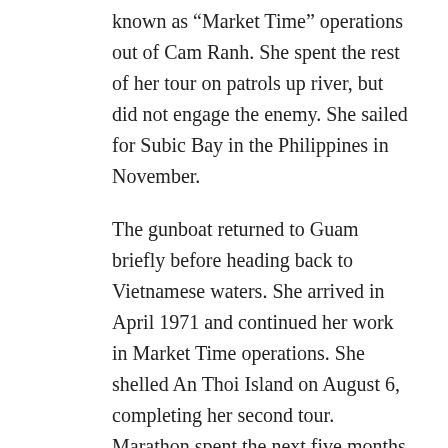known as “Market Time” operations out of Cam Ranh. She spent the rest of her tour on patrols up river, but did not engage the enemy. She sailed for Subic Bay in the Philippines in November.
The gunboat returned to Guam briefly before heading back to Vietnamese waters. She arrived in April 1971 and continued her work in Market Time operations. She shelled An Thoi Island on August 6, completing her second tour. Marathon spent the next five months at Guam, where she was overhauled. She arrived at Vung Tau on March 10, 1972 to begin a third and final Vietnam tour. Once again, her time “in country” was uneventful, and the gunboat left in August.